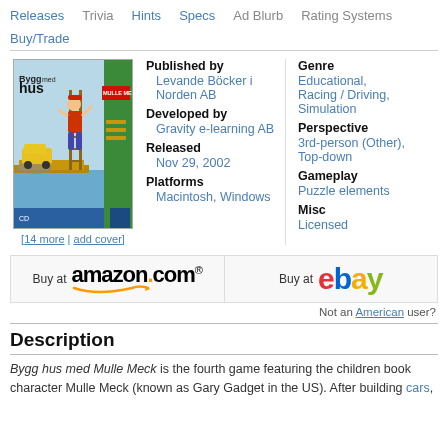Releases | Trivia | Hints | Specs | Ad Blurb | Rating Systems | Buy/Trade
[Figure (illustration): Cover art for Bygg hus med Mulle Meck showing a boy building on a dock with construction vehicles and tools]
[14 more | add cover]
| Published by | Levande Böcker i Norden AB |
| Developed by | Gravity e-learning AB |
| Released | Nov 29, 2002 |
| Platforms | Macintosh, Windows |
| Genre | Educational, Racing / Driving, Simulation |
| Perspective | 3rd-person (Other), Top-down |
| Gameplay | Puzzle elements |
| Misc | Licensed |
[Figure (logo): Buy at amazon.com button with smile logo]
[Figure (logo): Buy at ebay button with eBay logo]
Not an American user?
Description
Bygg hus med Mulle Meck is the fourth game featuring the children book character Mulle Meck (known as Gary Gadget in the US). After building cars, boats, and planes in previous games, this time he is building a house. Li...